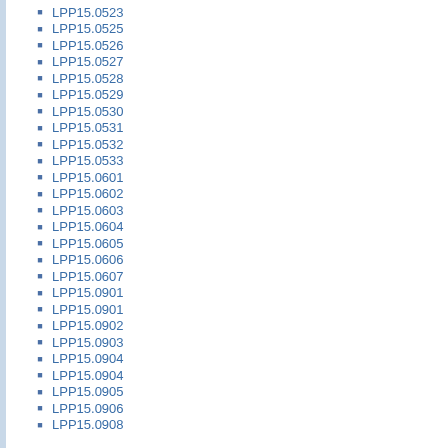LPP15.0523
LPP15.0525
LPP15.0526
LPP15.0527
LPP15.0528
LPP15.0529
LPP15.0530
LPP15.0531
LPP15.0532
LPP15.0533
LPP15.0601
LPP15.0602
LPP15.0603
LPP15.0604
LPP15.0605
LPP15.0606
LPP15.0607
LPP15.0901
LPP15.0901
LPP15.0902
LPP15.0903
LPP15.0904
LPP15.0904
LPP15.0905
LPP15.0906
LPP15.0908